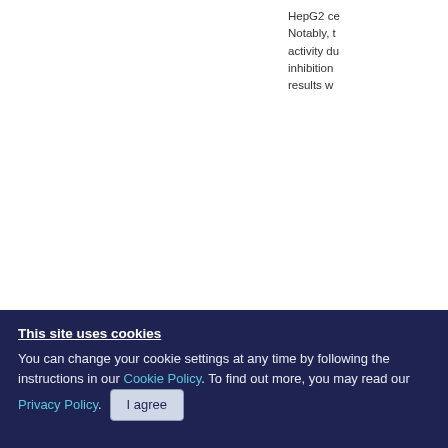HepG2 ce... Notably, t... activity du... inhibition... results w...
[Figure (bar-chart): Partial bar chart showing relative protein levels with multiple bars, some labeled with # markers. Columns labeled A, B with sub-panel labels. X-axis shows Pkl and Smad labels with + and - indicators.]
This site uses cookies
You can change your cookie settings at any time by following the instructions in our Cookie Policy. To find out more, you may read our Privacy Policy.